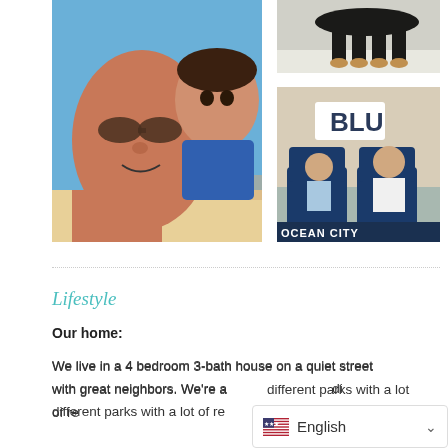[Figure (photo): Selfie of a man with sunglasses and a young boy at the beach, both smiling]
[Figure (photo): Photo of a black and tan dog from below/ground level on a light surface]
[Figure (photo): A man and a young girl sitting in large blue Adirondack chairs outside a building with BLU signage and Ocean City text]
Lifestyle
Our home:
We live in a 4 bedroom 3-bath house on a quiet street with great neighbors. We're a [short distance to] different parks with a lot of re[creational opportunities]